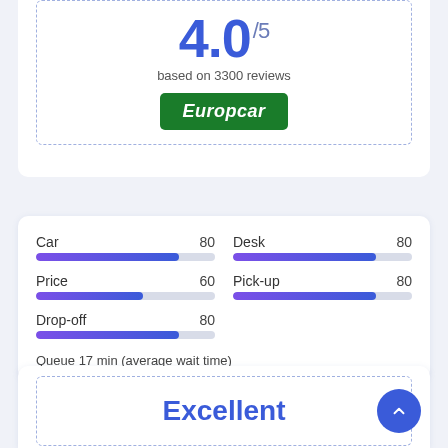4.0/5
based on 3300 reviews
[Figure (logo): Europcar green logo with white italic text]
Car 80
Desk 80
Price 60
Pick-up 80
Drop-off 80
Queue 17 min (average wait time)
Excellent